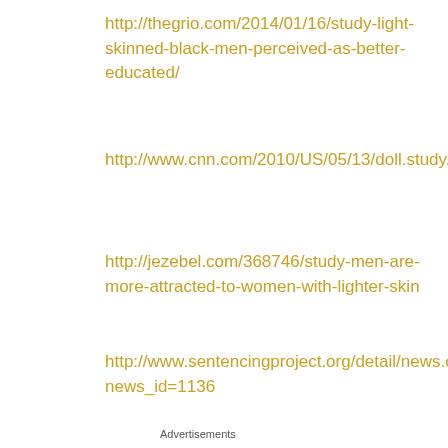http://thegrio.com/2014/01/16/study-light-skinned-black-men-perceived-as-better-educated/
http://www.cnn.com/2010/US/05/13/doll.study/
http://jezebel.com/368746/study-men-are-more-attracted-to-women-with-lighter-skin
http://www.sentencingproject.org/detail/news.cfm?news_id=1136
Advertisements